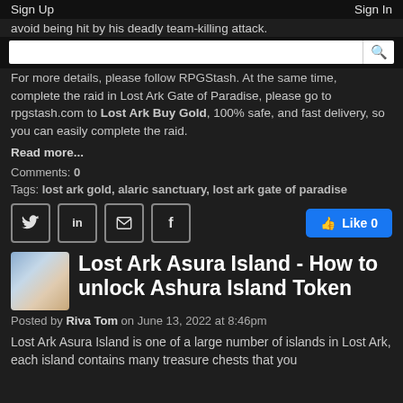Sign Up  Sign In
avoid being hit by his deadly team-killing attack.
For more details, please follow RPGStash. At the same time, complete the raid in Lost Ark Gate of Paradise, please go to rpgstash.com to Lost Ark Buy Gold, 100% safe, and fast delivery, so you can easily complete the raid.
Read more...
Comments: 0
Tags: lost ark gold, alaric sanctuary, lost ark gate of paradise
[Figure (screenshot): Social share buttons: Twitter, LinkedIn, Email, Facebook icons, and a blue Like button showing 0 likes]
Lost Ark Asura Island - How to unlock Ashura Island Token
Posted by Riva Tom on June 13, 2022 at 8:46pm
Lost Ark Asura Island is one of a large number of islands in Lost Ark, each island contains many treasure chests that you